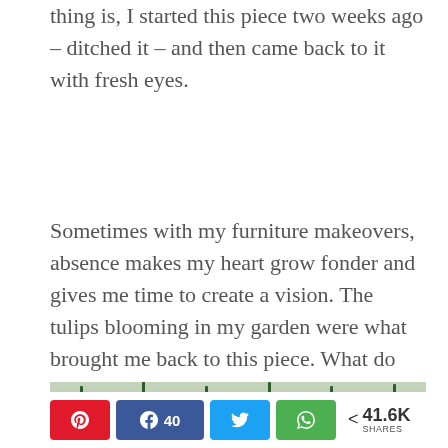thing is, I started this piece two weeks ago – ditched it – and then came back to it with fresh eyes.
Sometimes with my furniture makeovers, absence makes my heart grow fonder and gives me time to create a vision. The tulips blooming in my garden were what brought me back to this piece. What do you think? Does it remind you of a spring garden rainbow?
[Figure (photo): Partial view of tulip stems in a garden or vase, green stems against a light background]